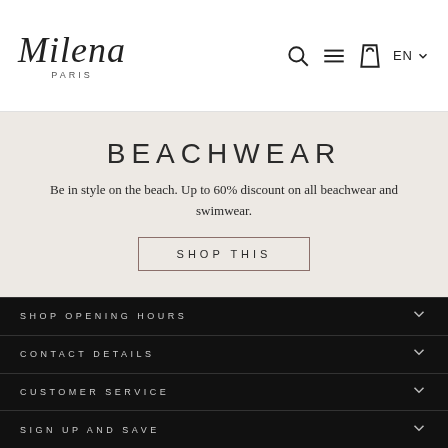Milena PARIS — navigation header with search, menu, cart, and EN language selector
BEACHWEAR
Be in style on the beach. Up to 60% discount on all beachwear and swimwear.
SHOP THIS
SHOP OPENING HOURS
CONTACT DETAILS
CUSTOMER SERVICE
SIGN UP AND SAVE